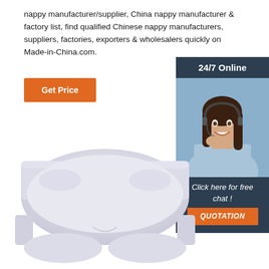nappy manufacturer/supplier, China nappy manufacturer & factory list, find qualified Chinese nappy manufacturers, suppliers, factories, exporters & wholesalers quickly on Made-in-China.com.
Get Price
[Figure (infographic): Sidebar advertisement panel with dark blue background, '24/7 Online' header, photo of smiling woman with headset, text 'Click here for free chat!', and orange QUOTATION button]
[Figure (photo): White adult diaper/nappy product photo on white background, showing front view of white underwear-style incontinence product]